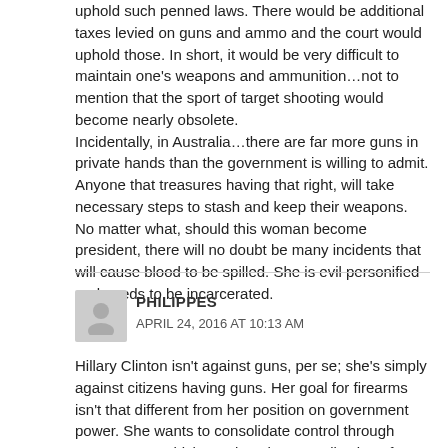uphold such penned laws. There would be additional taxes levied on guns and ammo and the court would uphold those. In short, it would be very difficult to maintain one's weapons and ammunition…not to mention that the sport of target shooting would become nearly obsolete.
Incidentally, in Australia…there are far more guns in private hands than the government is willing to admit. Anyone that treasures having that right, will take necessary steps to stash and keep their weapons. No matter what, should this woman become president, there will no doubt be many incidents that will cause blood to be spilled. She is evil personified and needs to be incarcerated.
PHILIPPES
APRIL 24, 2016 AT 10:13 AM
Hillary Clinton isn't against guns, per se; she's simply against citizens having guns. Her goal for firearms isn't that different from her position on government power. She wants to consolidate control through government, which requires the centralization of gun ownership at the military, state, and federal government levels.